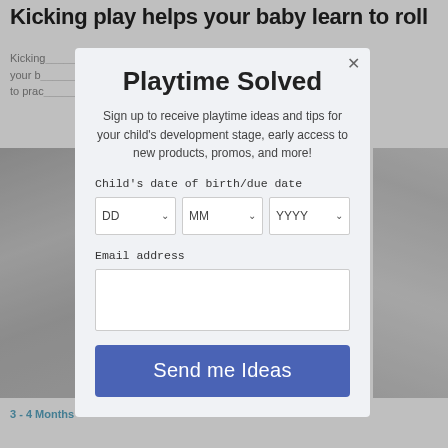Kicking play helps your baby learn to roll
Kicking play is one of the reasons why your baby learns to roll, as it encourages them to practise...
[Figure (photo): Grey dotted fabric/blanket photo on left side]
[Figure (photo): Baby toys photo on right side]
3 - 4 Months
Playtime Solved
Sign up to receive playtime ideas and tips for your child's development stage, early access to new products, promos, and more!
Child's date of birth/due date
DD  MM  YYYY
Email address
Send me Ideas